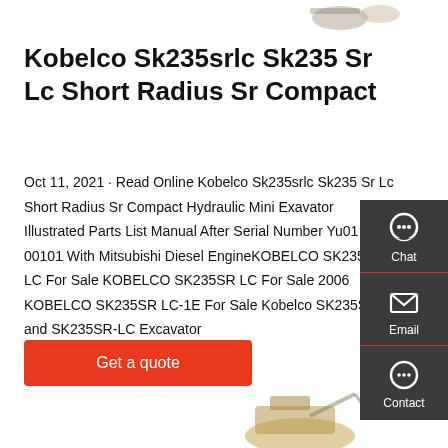[Figure (photo): Partial excavator image at top of page]
Kobelco Sk235srlc Sk235 Sr Lc Short Radius Sr Compact
Oct 11, 2021 · Read Online Kobelco Sk235srlc Sk235 Sr Lc Short Radius Sr Compact Hydraulic Mini Exavator Illustrated Parts List Manual After Serial Number Yu01 00101 With Mitsubishi Diesel EngineKOBELCO SK235SR LC For Sale KOBELCO SK235SR LC For Sale 2006 KOBELCO SK235SR LC-1E For Sale Kobelco SK235SR and SK235SR-LC Excavator
[Figure (screenshot): Sidebar with Chat, Email, Contact icons on dark background]
[Figure (photo): Get a quote red button]
[Figure (photo): Partial excavator image at bottom of page]